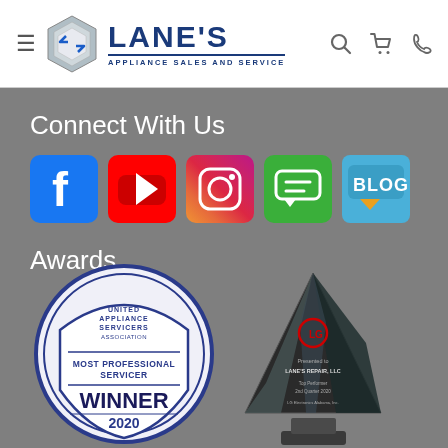[Figure (logo): Lane's Appliance Sales and Service logo with hexagon graphic and navigation icons]
Connect With Us
[Figure (infographic): Social media icons: Facebook, YouTube, Instagram, Chat/Forum, Blog]
Awards
[Figure (photo): United Appliance Servicers Association Most Professional Servicer WINNER 2020 badge, and LG Top Performer award trophy]